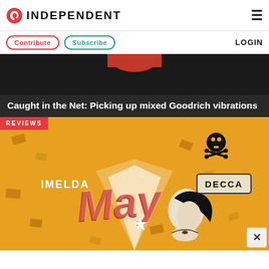INDEPENDENT
Contribute  Subscribe  LOGIN
[Figure (illustration): Dark hero image with red element at top center, appears to be part of an article header image]
Caught in the Net: Picking up mixed Goodrich vibrations
[Figure (illustration): Imelda May album artwork on yellow/orange background with REVIEWS badge, skull and crossbones, DECCA label, stylized red 'May' text, and silhouette of woman with black hair]